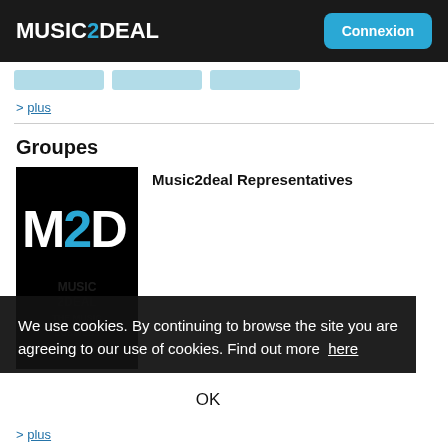MUSIC2DEAL  Connexion
[Figure (screenshot): Three light blue placeholder tab buttons]
> plus
Groupes
[Figure (logo): M2D logo on black background with M2D text and watermark MUSIC2DEAL THE MUSIC BUSINESS NETWORK]
Music2deal Representatives
We use cookies. By continuing to browse the site you are agreeing to our use of cookies. Find out more here
OK
> plus